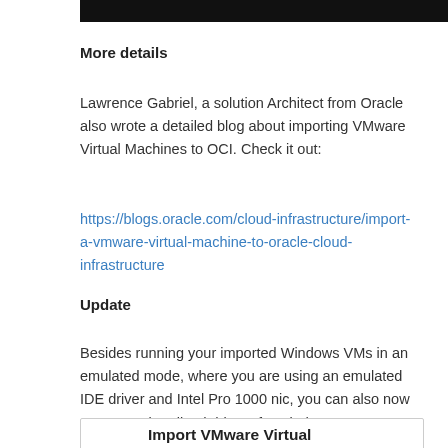[Figure (other): Black header bar at top of page]
More details
Lawrence Gabriel, a solution Architect from Oracle also wrote a detailed blog about importing VMware Virtual Machines to OCI. Check it out:
https://blogs.oracle.com/cloud-infrastructure/import-a-vmware-virtual-machine-to-oracle-cloud-infrastructure
Update
Besides running your imported Windows VMs in an emulated mode, where you are using an emulated IDE driver and Intel Pro 1000 nic, you can also now use para-virtualized drivers for windows 2008 or above.
Import VMware Virtual